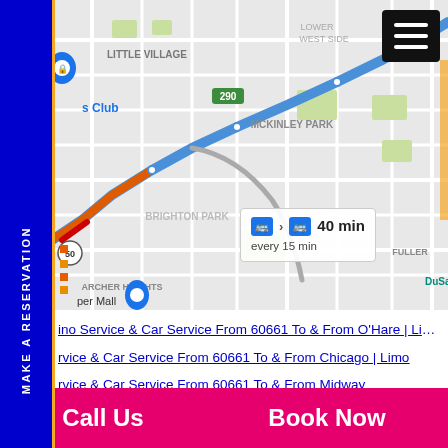[Figure (map): Google Maps screenshot showing transit route from 60661 area through McKinley Park, Brighton Park, Archer Heights neighborhoods in Chicago. Shows a blue/orange traffic route along a major road with a transit popup showing 40 min, every 15 min.]
MAKE A RESERVATION
ino Service & Car Service From 60661 To & From O'Hare | Limo
rvice & Car Service From 60661 To & From Chicago | Limo
rvice & Car Service From 60661 To & From Midway
[Figure (map): Second map area partially visible at bottom]
Call Us
Book Now